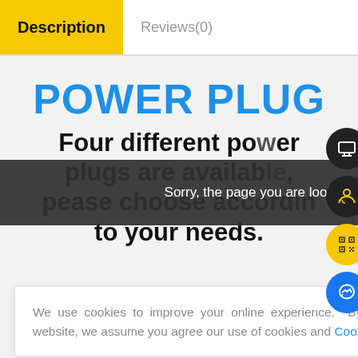Description   Reviews(0)
POWER PLUG
Four different power plugs are available, pease choose according to your needs.
Sorry, the page you are looking for could not be found.
We use cookies to improve your online experience. By continuing browsing this website, we assume you agree our use of cookies and Cookie Policy.
Fast Voice Recognition,S